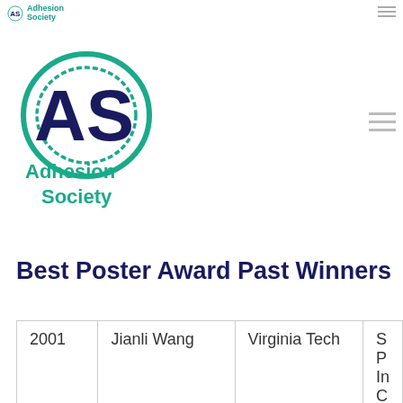Adhesion Society
[Figure (logo): Adhesion Society logo with 'AS' letters in teal/green and text 'Adhesion Society' below]
Best Poster Award Past Winners
| Year | Name | Institution | Description |
| --- | --- | --- | --- |
| 2001 | Jianli Wang | Virginia Tech | S P In C C B |